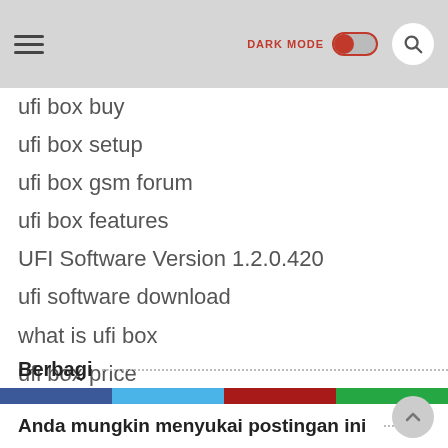DARK MODE [toggle]
ufi box buy
ufi box setup
ufi box gsm forum
ufi box features
UFI Software Version 1.2.0.420
ufi software download
what is ufi box
ufi box price
ufi setup download
UFI Software
Berbagi
[Figure (other): Social share buttons: Facebook, Twitter, Pinterest, WhatsApp]
Anda mungkin menyukai postingan ini